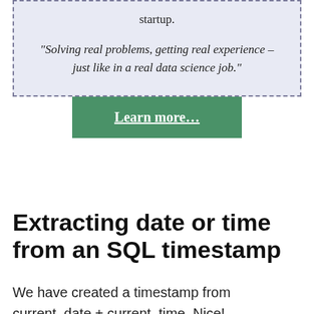startup.
“Solving real problems, getting real experience – just like in a real data science job.”
Learn more…
Extracting date or time from an SQL timestamp
We have created a timestamp from current_date + current_time. Nice!